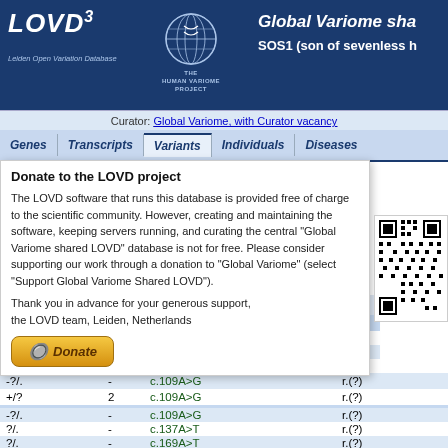LOVD3 | Global Variome shared LOVD | SOS1 (son of sevenless h...)
Curator: Global Variome, with Curator vacancy
Genes | Transcripts | Variants | Individuals | Diseases
Full data view for gene SOS1
Donate to the LOVD project
The LOVD software that runs this database is provided free of charge to the scientific community. However, creating and maintaining the software, keeping servers running, and curating the central "Global Variome shared LOVD" database is not for free. Please consider supporting our work through a donation to "Global Variome" (select "Support Global Variome Shared LOVD").
Thank you in advance for your generous support,
the LOVD team, Leiden, Netherlands
|  |  | DNA | RNA |
| --- | --- | --- | --- |
| -?/. | - | c.? | r.(?) |
| -?/. | - | c.64C>G | r.(?) |
| -?/. | - | c.87+10A>G | r.(=) |
| -?/. | - | c.109A>G | r.(?) |
| +/? | 2 | c.109A>G | r.(?) |
| -?/. | - | c.109A>G | r.(?) |
| ?/. | - | c.137A>T | r.(?) |
| ?/. | - | c.169A>T | r.(?) |
| -/. | - | c.195A>C | r.(?) |
| -/. | - | c.195A>C | r.(?) |
| -?/. | - | c.213+14_213+16del | r.(=) |